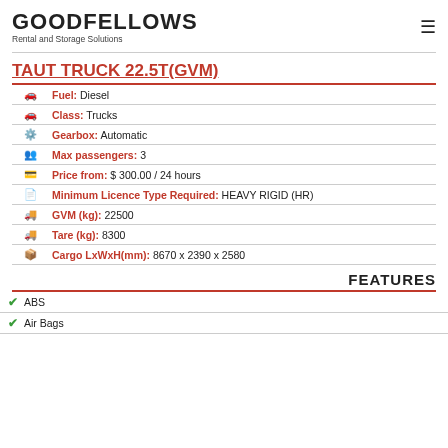GOODFELLOWS Rental and Storage Solutions
TAUT TRUCK 22.5T(GVM)
Fuel: Diesel
Class: Trucks
Gearbox: Automatic
Max passengers: 3
Price from: $ 300.00 / 24 hours
Minimum Licence Type Required: HEAVY RIGID (HR)
GVM (kg): 22500
Tare (kg): 8300
Cargo LxWxH(mm): 8670 x 2390 x 2580
FEATURES
ABS
Air Bags